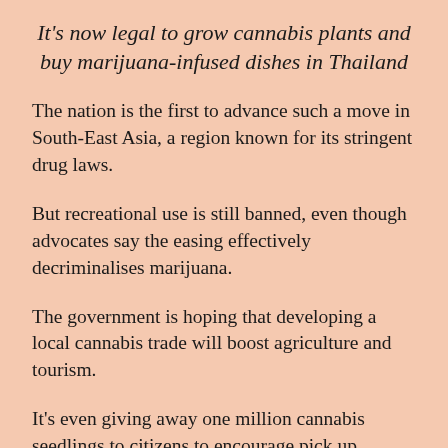It's now legal to grow cannabis plants and buy marijuana-infused dishes in Thailand
The nation is the first to advance such a move in South-East Asia, a region known for its stringent drug laws.
But recreational use is still banned, even though advocates say the easing effectively decriminalises marijuana.
The government is hoping that developing a local cannabis trade will boost agriculture and tourism.
It's even giving away one million cannabis seedlings to citizens to encourage pick up…